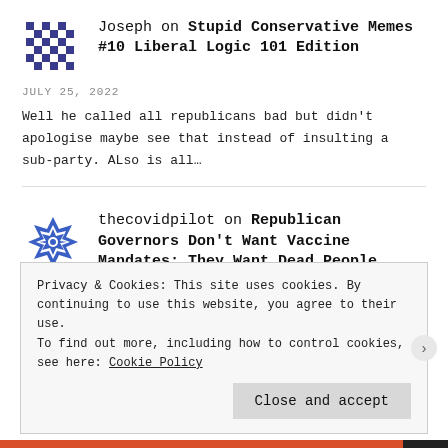Joseph on Stupid Conservative Memes #10 Liberal Logic 101 Edition
JULY 25, 2022
Well he called all republicans bad but didn't apologise maybe see that instead of insulting a sub-party. ALso is all…
thecovidpilot on Republican Governors Don't Want Vaccine Mandates; They Want Dead People
Privacy & Cookies: This site uses cookies. By continuing to use this website, you agree to their use. To find out more, including how to control cookies, see here: Cookie Policy
Close and accept